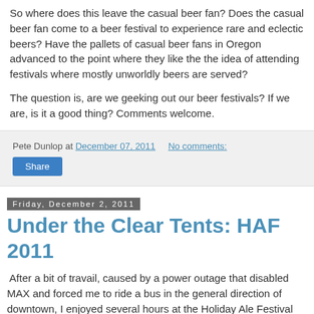So where does this leave the casual beer fan? Does the casual beer fan come to a beer festival to experience rare and eclectic beers? Have the pallets of casual beer fans in Oregon advanced to the point where they like the the idea of attending festivals where mostly unworldly beers are served?
The question is, are we geeking out our beer festivals? If we are, is it a good thing? Comments welcome.
Pete Dunlop at December 07, 2011   No comments:
Share
Friday, December 2, 2011
Under the Clear Tents: HAF 2011
After a bit of travail, caused by a power outage that disabled MAX and forced me to ride a bus in the general direction of downtown, I enjoyed several hours at the Holiday Ale Festival Thursday afternoon and evening. Beer fests are